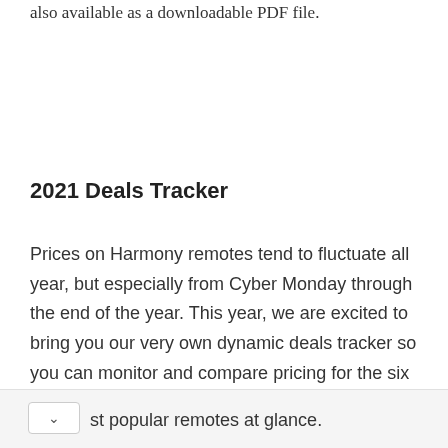also available as a downloadable PDF file.
2021 Deals Tracker
Prices on Harmony remotes tend to fluctuate all year, but especially from Cyber Monday through the end of the year. This year, we are excited to bring you our very own dynamic deals tracker so you can monitor and compare pricing for the six most popular remotes at glance.